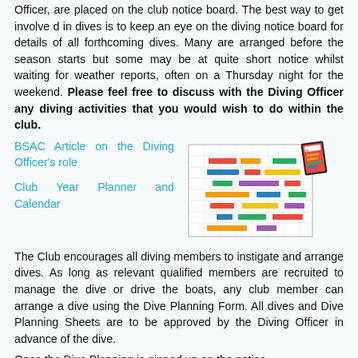Officer, are placed on the club notice board. The best way to get involve d in dives is to keep an eye on the diving notice board for details of all forthcoming dives. Many are arranged before the season starts but some may be at quite short notice whilst waiting for weather reports, often on a Thursday night for the weekend. Please feel free to discuss with the Diving Officer any diving activities that you would wish to do within the club.
BSAC Article on the Diving Officer's role
Club Year Planner and Calendar
[Figure (other): Image of a club year planner/calendar grid with colored bars and a stack of cards/booklets]
The Club encourages all diving members to instigate and arrange dives. As long as relevant qualified members are recruited to manage the dive or drive the boats, any club member can arrange a dive using the Dive Planning Form. All dives and Dive Planning Sheets are to be approved by the Diving Officer in advance of the dive.
Once the Dive Planning is pinned up on the notice